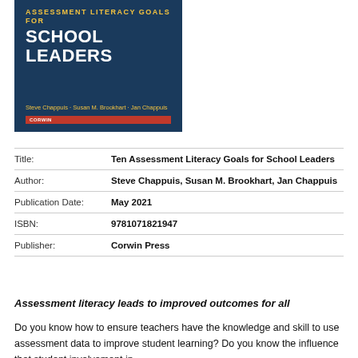[Figure (illustration): Book cover for 'Ten Assessment Literacy Goals for School Leaders' with dark blue background, yellow title text, and authors Steve Chappuis, Susan M. Brookhart, Jan Chappuis. Corwin publisher logo in red at bottom right.]
| Title: | Ten Assessment Literacy Goals for School Leaders |
| Author: | Steve Chappuis, Susan M. Brookhart, Jan Chappuis |
| Publication Date: | May 2021 |
| ISBN: | 9781071821947 |
| Publisher: | Corwin Press |
Assessment literacy leads to improved outcomes for all
Do you know how to ensure teachers have the knowledge and skill to use assessment data to improve student learning? Do you know the influence that student involvement in